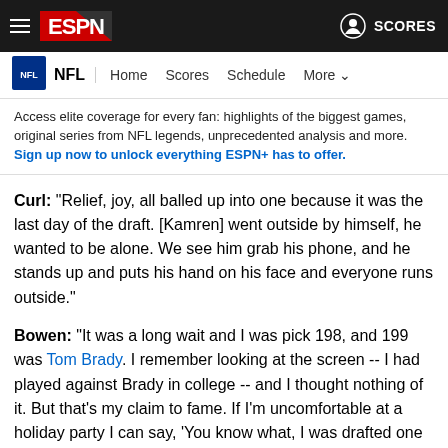ESPN - NFL | Home Scores Schedule More | SCORES
Access elite coverage for every fan: highlights of the biggest games, original series from NFL legends, unprecedented analysis and more. Sign up now to unlock everything ESPN+ has to offer.
Curl: "Relief, joy, all balled up into one because it was the last day of the draft. [Kamren] went outside by himself, he wanted to be alone. We see him grab his phone, and he stands up and puts his hand on his face and everyone runs outside."
Bowen: "It was a long wait and I was pick 198, and 199 was Tom Brady. I remember looking at the screen -- I had played against Brady in college -- and I thought nothing of it. But that's my claim to fame. If I'm uncomfortable at a holiday party I can say, 'You know what, I was drafted one spot ahead of Tom Brady.'"